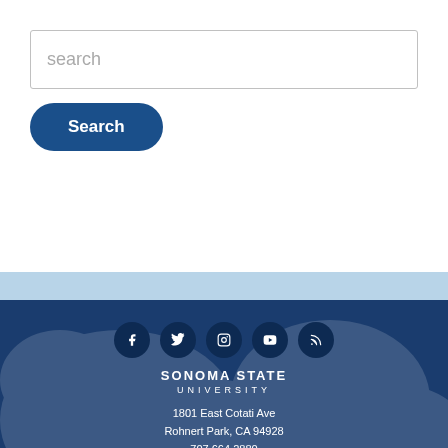[Figure (screenshot): Search input box with placeholder text 'search' and a blue 'Search' button below it]
[Figure (infographic): Sonoma State University footer with social media icons (Facebook, Twitter, Instagram, YouTube, RSS), university name, and address: 1801 East Cotati Ave, Rohnert Park, CA 94928, 707.664.2880]